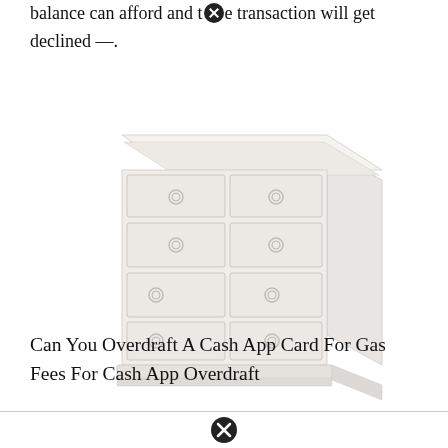reimbursements. Try to buy more than your balance can afford and the transaction will get declined —.
[Figure (illustration): A white/light grey dresser with multiple drawers and circular drawer pulls, shown in a 3D perspective illustration against a white background.]
Can You Overdraft A Cash App Card For Gas Fees For Cash App Overdraft